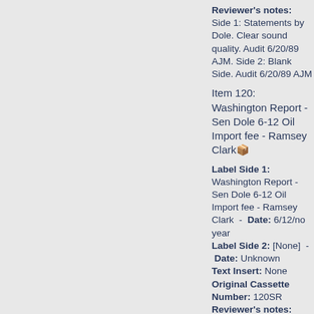Reviewer's notes: Side 1: Statements by Dole. Clear sound quality. Audit 6/20/89 AJM. Side 2: Blank Side. Audit 6/20/89 AJM
Item 120: Washington Report - Sen Dole 6-12 Oil Import fee - Ramsey Clark
Label Side 1: Washington Report - Sen Dole 6-12 Oil Import fee - Ramsey Clark - Date: 6/12/no year Label Side 2: [None] - Date: Unknown Text Insert: None Original Cassette Number: 120SR Reviewer's notes: Short Tape: Side 2